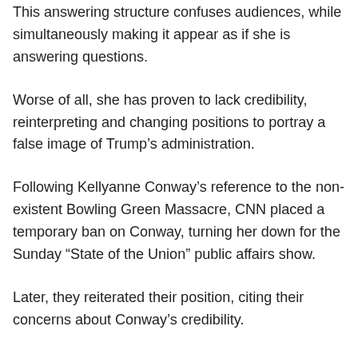This answering structure confuses audiences, while simultaneously making it appear as if she is answering questions.
Worse of all, she has proven to lack credibility, reinterpreting and changing positions to portray a false image of Trump's administration.
Following Kellyanne Conway's reference to the non-existent Bowling Green Massacre, CNN placed a temporary ban on Conway, turning her down for the Sunday “State of the Union” public affairs show.
Later, they reiterated their position, citing their concerns about Conway’s credibility.